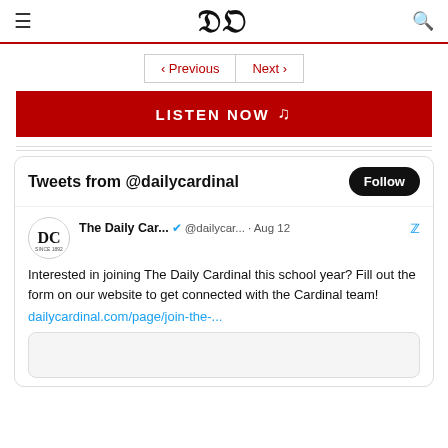DC — Daily Cardinal header with hamburger menu, DC logo, and search icon
« Previous   Next »
LISTEN NOW 🎵
[Figure (screenshot): Twitter/X widget showing Tweets from @dailycardinal with a Follow button and a tweet from The Daily Car... @dailycar... · Aug 12: Interested in joining The Daily Cardinal this school year? Fill out the form on our website to get connected with the Cardinal team! dailycardinal.com/page/join-the-...]